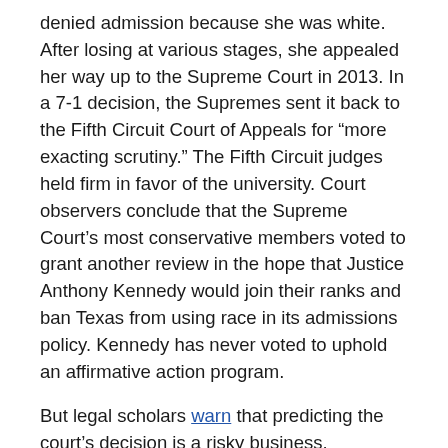denied admission because she was white. After losing at various stages, she appealed her way up to the Supreme Court in 2013. In a 7-1 decision, the Supremes sent it back to the Fifth Circuit Court of Appeals for “more exacting scrutiny.” The Fifth Circuit judges held firm in favor of the university. Court observers conclude that the Supreme Court’s most conservative members voted to grant another review in the hope that Justice Anthony Kennedy would join their ranks and ban Texas from using race in its admissions policy. Kennedy has never voted to uphold an affirmative action program.
But legal scholars warn that predicting the court’s decision is a risky business.
“It is very difficult to read the tea leaves,” says William Powers Jr., who was president of the University of Texas at Austin when the suit was filed, and is now a law professor there. Powers, a UC Berkeley grad and the Cal Alumni